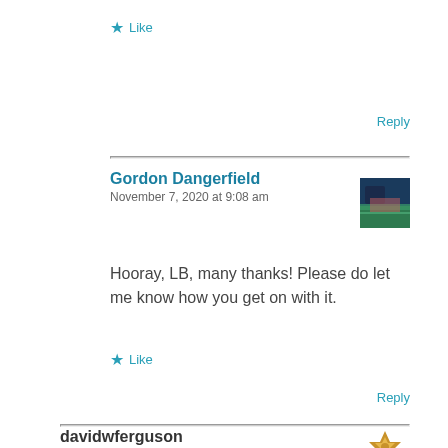★ Like
Reply
Gordon Dangerfield
November 7, 2020 at 9:08 am
[Figure (photo): User avatar photo thumbnail showing landscape/nature scene]
Hooray, LB, many thanks! Please do let me know how you get on with it.
★ Like
Reply
davidwferguson
November 7, 2020 at 10:15 am
[Figure (logo): User avatar with gold/brown pinwheel or star symbol]